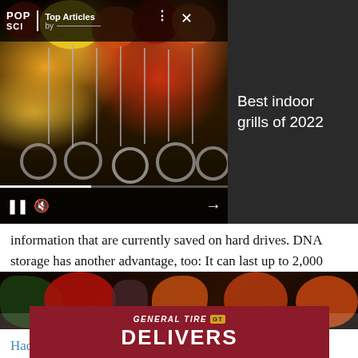[Figure (screenshot): Pop Science Top Articles widget header with fruit/kebab video thumbnail on dark background showing video player controls]
Best indoor grills of 2022
information that are currently saved on hard drives. DNA storage has another advantage, too: It can last up to 2,000 years without breaking down, according to recent experiments presented at the annual meeting of the American Chemical Society, taking place this week, and reported by Hacked.
[Figure (photo): Advertisement banner: General Tire DELIVERS in red background with food photo above]